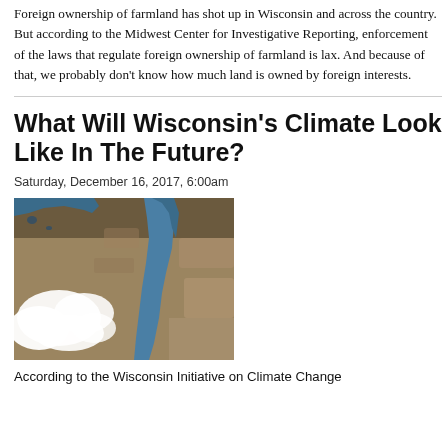Foreign ownership of farmland has shot up in Wisconsin and across the country. But according to the Midwest Center for Investigative Reporting, enforcement of the laws that regulate foreign ownership of farmland is lax. And because of that, we probably don't know how much land is owned by foreign interests.
What Will Wisconsin's Climate Look Like In The Future?
Saturday, December 16, 2017, 6:00am
[Figure (photo): Satellite aerial image showing the Great Lakes region, with Wisconsin and Lake Michigan visible. Brown/tan landmass with blue water and white clouds.]
According to the Wisconsin Initiative on Climate Change